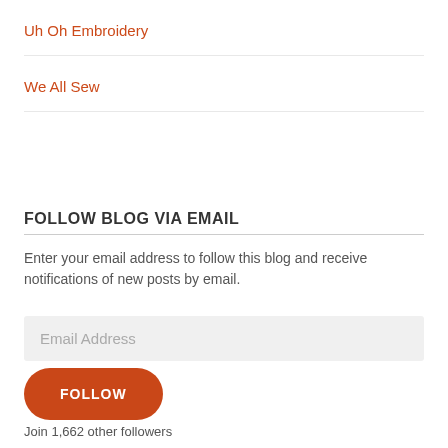Uh Oh Embroidery
We All Sew
FOLLOW BLOG VIA EMAIL
Enter your email address to follow this blog and receive notifications of new posts by email.
Email Address
FOLLOW
Join 1,662 other followers